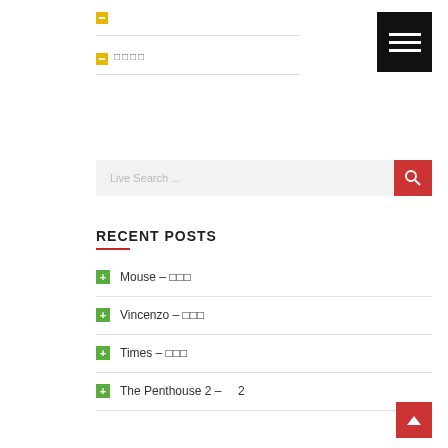[Figure (screenshot): Yellow minus icon button (nav item 1)]
□□□□
[Figure (screenshot): Hamburger menu button (black background, three white lines)]
[Figure (screenshot): Live Search input box with red search button]
RECENT POSTS
Mouse – □□□
Vincenzo – □□□
Times – □□□
The Penthouse 2 –      2
[Figure (screenshot): Red back-to-top button with up arrow]